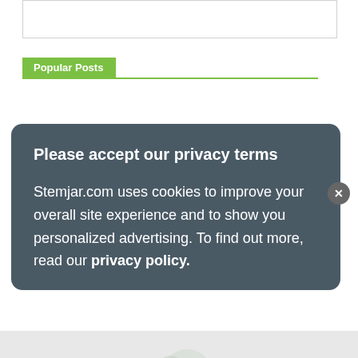[Figure (other): Partial image/logo at top of page, cropped]
Popular Posts
Please accept our privacy terms

Stemjar.com uses cookies to improve your overall site experience and to show you personalized advertising. To find out more, read our privacy policy.
Category